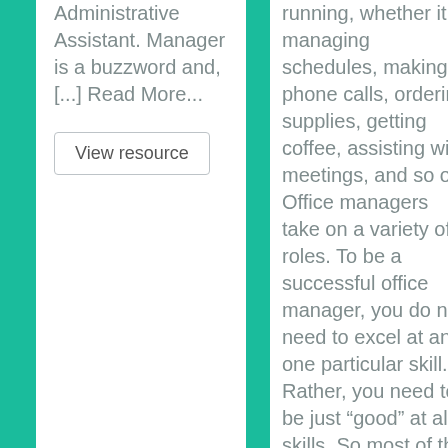Administrative Assistant. Manager is a buzzword and, [...] Read More...
View resource
running, whether it is managing schedules, making phone calls, ordering supplies, getting coffee, assisting with meetings, and so on. Office managers take on a variety of roles. To be a successful office manager, you do not need to excel at any one particular skill. Rather, you need to be just “good” at all skills. So most of the interview questions you will face will be fairly basic, but may refer to almost any task that you will undertake. Below are just a small sample of the possible interview questions you will face